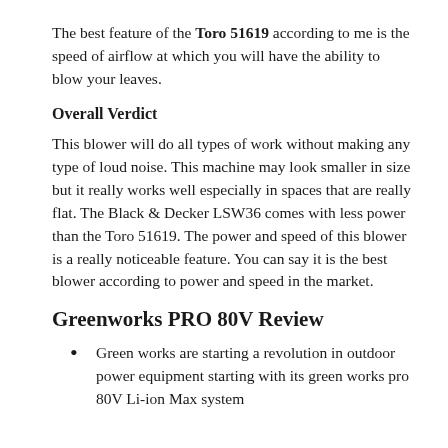The best feature of the Toro 51619 according to me is the speed of airflow at which you will have the ability to blow your leaves.
Overall Verdict
This blower will do all types of work without making any type of loud noise. This machine may look smaller in size but it really works well especially in spaces that are really flat. The Black & Decker LSW36 comes with less power than the Toro 51619. The power and speed of this blower is a really noticeable feature. You can say it is the best blower according to power and speed in the market.
Greenworks PRO 80V Review
Green works are starting a revolution in outdoor power equipment starting with its green works pro 80V Li-ion Max system